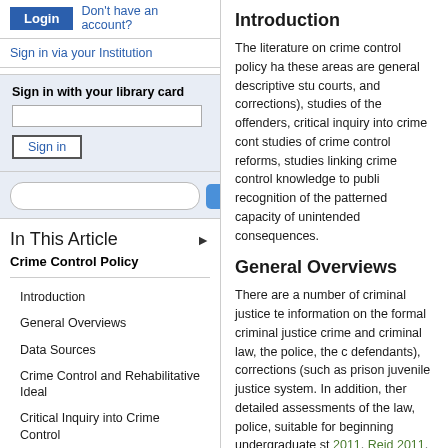[Figure (screenshot): Login button (blue) and 'Don't have an account?' link]
Sign in via your Institution
Sign in with your library card
[Figure (screenshot): Library card text input field and Sign in button]
[Figure (screenshot): Search input field with Find button]
In This Article
Crime Control Policy
Introduction
General Overviews
Data Sources
Crime Control and Rehabilitative Ideal
Critical Inquiry into Crime Control
Introduction
The literature on crime control policy ha these areas are general descriptive stu courts, and corrections), studies of the offenders, critical inquiry into crime cont studies of crime control reforms, studies linking crime control knowledge to publi recognition of the patterned capacity of unintended consequences.
General Overviews
There are a number of criminal justice te information on the formal criminal justice crime and criminal law, the police, the c defendants), corrections (such as prison juvenile justice system. In addition, ther detailed assessments of the law, police, suitable for beginning undergraduate st 2011, Reid 2011, Bohm and Haley 2009 provide more focused and detailed read studying particular crime control compo